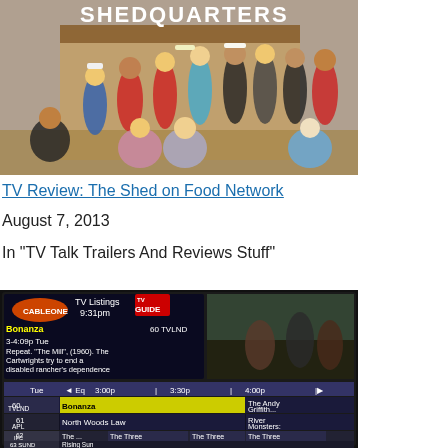[Figure (photo): Group photo of people standing and sitting in front of a wooden shack with 'SHEDQUARTERS' sign overhead]
TV Review: The Shed on Food Network
August 7, 2013
In "TV Talk Trailers And Reviews Stuff"
[Figure (screenshot): TV screen showing Cable One TV Guide listing with channels 60 TVLND (Bonanza, The Andy Griffith...), 61 APL (North Woods Law, River Monsters:), 62 IFC (The..., The Three Stooges, The Three Stooges, The Three Stooges, ...), 63 SUND (Rising Sun) at 9:31pm Tuesday with times 3:00p, 3:30p, 4:00p shown]